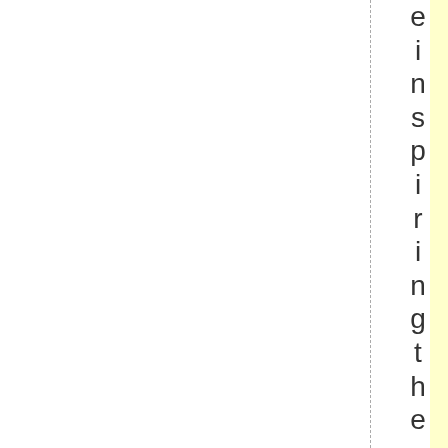[Figure (other): Page layout with a yellow highlighted vertical column, dashed vertical guide lines, and vertical text reading 'einspiring the world from i s r' along the right margin.]
einspiring the world from i s r